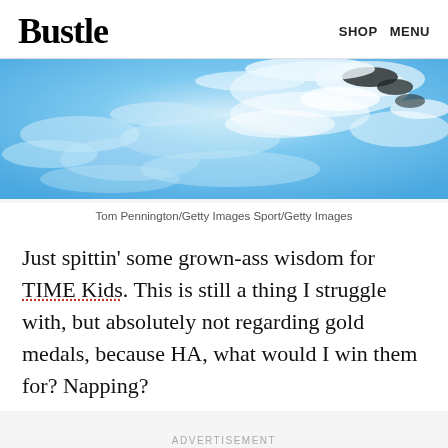Bustle   SHOP   MENU
[Figure (photo): Swimmer in pool with churning white and blue water, close-up aerial view]
Tom Pennington/Getty Images Sport/Getty Images
Just spittin' some grown-ass wisdom for TIME Kids. This is still a thing I struggle with, but absolutely not regarding gold medals, because HA, what would I win them for? Napping?
ADVERTISEMENT